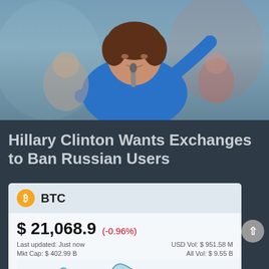[Figure (photo): Photo of Hillary Clinton speaking at a podium with a microphone, wearing a blue jacket, raising her arm]
Hillary Clinton Wants Exchanges to Ban Russian Users
[Figure (continuous-plot): BTC price area/line chart showing price movement over time, trending up then volatile]
$ 21,068.9  (-0.96%)
Last updated: Just now    USD Vol: $ 951.58 M
Mkt Cap: $ 402.99 B         All Vol: $ 9.55 B